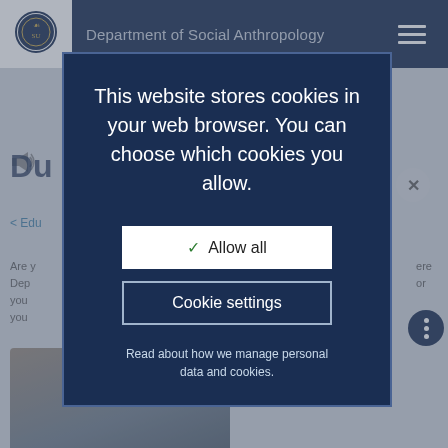Department of Social Anthropology
[Figure (screenshot): Cookie consent modal overlay on Stockholm University Department of Social Anthropology website. Modal has dark navy background with white text reading 'This website stores cookies in your web browser. You can choose which cookies you allow.' with 'Allow all' and 'Cookie settings' buttons, and a privacy policy link.]
This website stores cookies in your web browser. You can choose which cookies you allow.
Allow all
Cookie settings
Read about how we manage personal data and cookies.